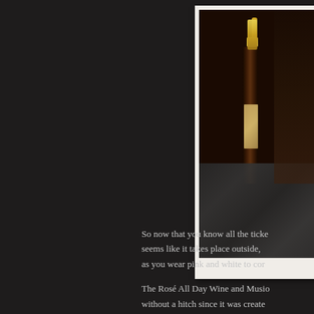[Figure (photo): A champagne or wine bottle with gold foil top and a label, photographed in a dark setting with what appears to be dark fabric or clothing in the foreground, presented in a polaroid-style white frame]
So now that you know all the ticke... seems like it takes place outside, as you wear pink and white to cor...
The Rosé All Day Wine and Musio... without a hitch since it was create...